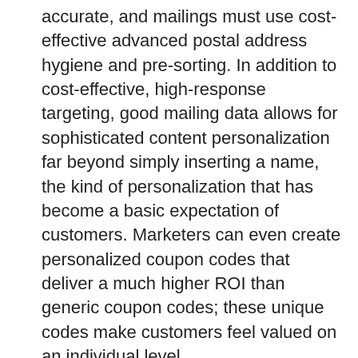accurate, and mailings must use cost-effective advanced postal address hygiene and pre-sorting. In addition to cost-effective, high-response targeting, good mailing data allows for sophisticated content personalization far beyond simply inserting a name, the kind of personalization that has become a basic expectation of customers. Marketers can even create personalized coupon codes that deliver a much higher ROI than generic coupon codes; these unique codes make customers feel valued on an individual level.
For 2018 direct mail trends in creative design and mailing strategies, see https://www.postalytics.com/blog/direct-mail-marketing-trends-for-2018/